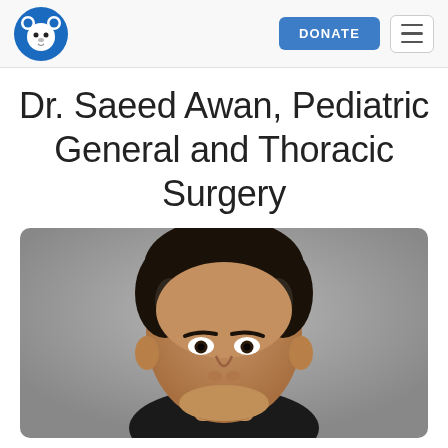DONATE
Dr. Saeed Awan, Pediatric General and Thoracic Surgery
[Figure (photo): Professional headshot of Dr. Saeed Awan, a middle-aged man with dark hair and a neutral expression against a gray background.]